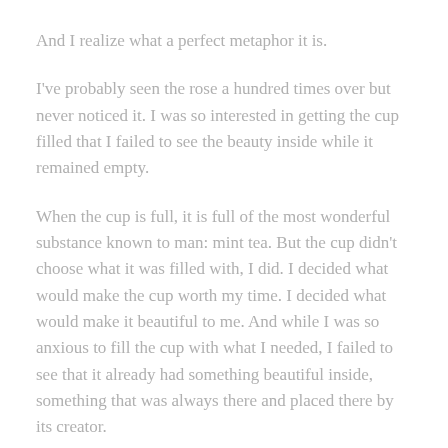And I realize what a perfect metaphor it is.
I've probably seen the rose a hundred times over but never noticed it. I was so interested in getting the cup filled that I failed to see the beauty inside while it remained empty.
When the cup is full, it is full of the most wonderful substance known to man: mint tea. But the cup didn't choose what it was filled with, I did. I decided what would make the cup worth my time. I decided what would make it beautiful to me. And while I was so anxious to fill the cup with what I needed, I failed to see that it already had something beautiful inside, something that was always there and placed there by its creator.